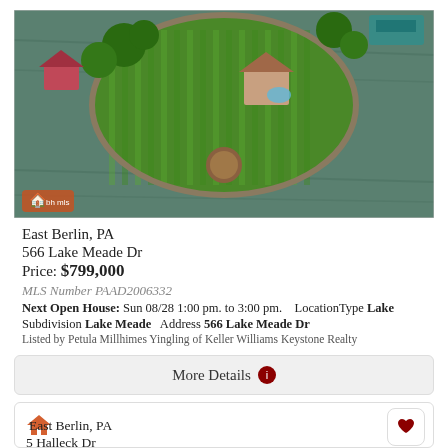[Figure (photo): Aerial drone photo of a lakefront property on a peninsula surrounded by water, with a house, red roof, green manicured lawn with mowing stripes, stone wall edging, and trees. Another property with a blue boat dock visible in upper right.]
East Berlin, PA
566 Lake Meade Dr
Price: $799,000
MLS Number PAAD2006332
Next Open House: Sun 08/28 1:00 pm. to 3:00 pm.    LocationType Lake
Subdivision Lake Meade    Address 566 Lake Meade Dr
Listed by Petula Millhimes Yingling of Keller Williams Keystone Realty
More Details
East Berlin, PA
5 Halleck Dr